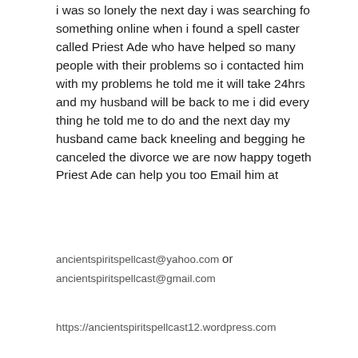i was so lonely the next day i was searching for something online when i found a spell caster called Priest Ade who have helped so many people with their problems so i contacted him with my problems he told me it will take 24hrs and my husband will be back to me i did every thing he told me to do and the next day my husband came back kneeling and begging he canceled the divorce we are now happy together Priest Ade can help you too Email him at
ancientspiritspellcast@yahoo.com or ancientspiritspellcast@gmail.com
https://ancientspiritspellcast12.wordpress.com